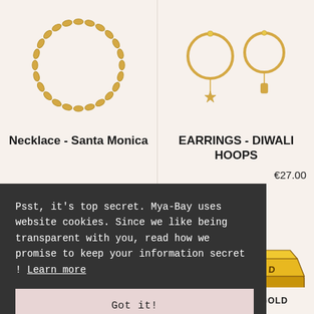[Figure (photo): Gold chain necklace forming a circle on a cream background]
[Figure (photo): Gold hoop earrings with star charm and crystal detail on a cream background]
Necklace - Santa Monica
EARRINGS - DIWALI HOOPS
€27.00
Psst, it's top secret. Mya-Bay uses website cookies. Since we like being transparent with you, read how we promise to keep your information secret ! Learn more
Got it!
[Figure (illustration): Gold bar illustration with GOLD text engraved on it]
HAND DESIGN
FITS ALL
FINE GOLD